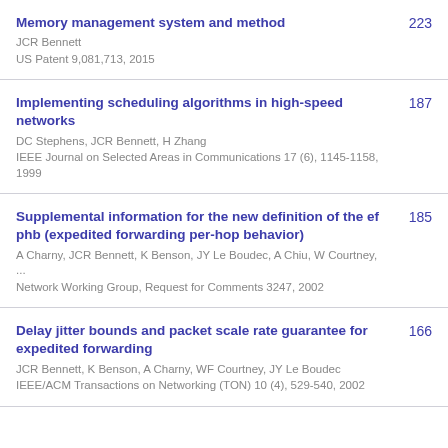Memory management system and method | JCR Bennett | US Patent 9,081,713, 2015 | 223
Implementing scheduling algorithms in high-speed networks | DC Stephens, JCR Bennett, H Zhang | IEEE Journal on Selected Areas in Communications 17 (6), 1145-1158, 1999 | 187
Supplemental information for the new definition of the ef phb (expedited forwarding per-hop behavior) | A Charny, JCR Bennett, K Benson, JY Le Boudec, A Chiu, W Courtney, ... | Network Working Group, Request for Comments 3247, 2002 | 185
Delay jitter bounds and packet scale rate guarantee for expedited forwarding | JCR Bennett, K Benson, A Charny, WF Courtney, JY Le Boudec | IEEE/ACM Transactions on Networking (TON) 10 (4), 529-540, 2002 | 166